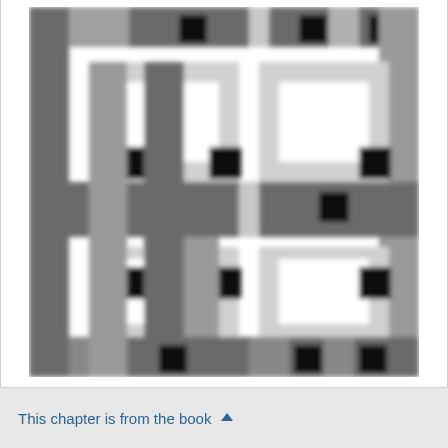[Figure (illustration): A blurred/pixelated grayscale pattern resembling a QR code or circuit-board-like geometric grid of dark gray squares and rectangles with small black squares at intersection points, arranged in a repeating tile pattern.]
This chapter is from the book ▲